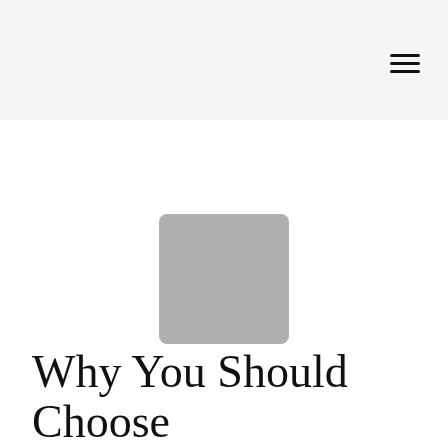[Figure (logo): Gray rounded square placeholder logo/image centered on the page]
Why You Should Choose